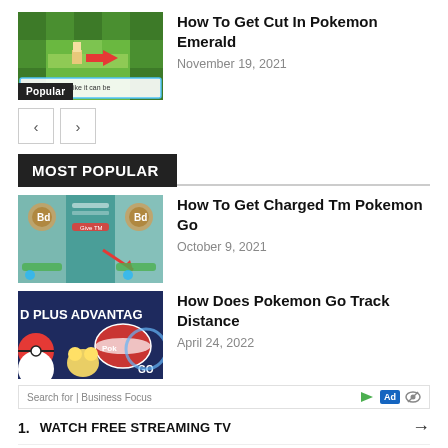[Figure (screenshot): Pokemon Emerald game screenshot showing top-down view with green trees and a red arrow pointing left, with dialog box reading 'This tree looks like it can be']
How To Get Cut In Pokemon Emerald
November 19, 2021
Popular
< >
MOST POPULAR
[Figure (screenshot): Pokemon Go screenshots showing Charged TM interface with multiple panels]
How To Get Charged Tm Pokemon Go
October 9, 2021
[Figure (screenshot): Pokemon Go Plus Advantage promotional image with Pokemon Go branding and Pikachu]
How Does Pokemon Go Track Distance
April 24, 2022
Search for | Business Focus
1. WATCH FREE STREAMING TV →